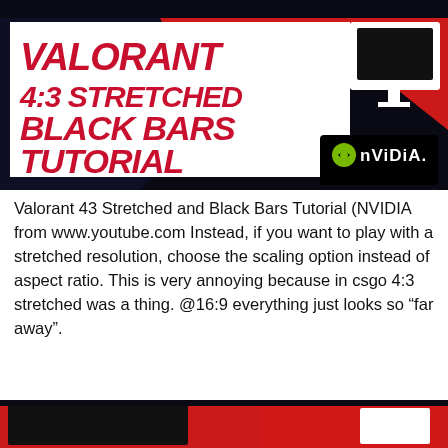[Figure (screenshot): Valorant 4:3 Stretched Black Bars Tutorial thumbnail with red background, game character, NVIDIA logo, and monitor icon. Bold red italic text reads VALORANT 4:3 STRETCHED BLACK BARS TUTORIAL on white background.]
Valorant 43 Stretched and Black Bars Tutorial (NVIDIA from www.youtube.com Instead, if you want to play with a stretched resolution, choose the scaling option instead of aspect ratio. This is very annoying because in csgo 4:3 stretched was a thing. @16:9 everything just looks so “far away”.
[Figure (screenshot): Partial screenshot of another Valorant tutorial thumbnail, partially cropped at bottom of page, red background with game character visible.]